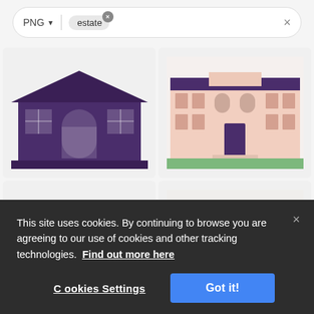[Figure (screenshot): Search bar with PNG format selector and 'estate' search chip with X button, and a main X close button on the right]
[Figure (screenshot): 2x2 grid of estate/house icon images: top-left dark purple flat house, top-right pink detailed mansion, bottom-left partial dark purple house, bottom-right pink mansion with dark roof]
This site uses cookies. By continuing to browse you are agreeing to our use of cookies and other tracking technologies.  Find out more here
Cookies Settings
Got it!